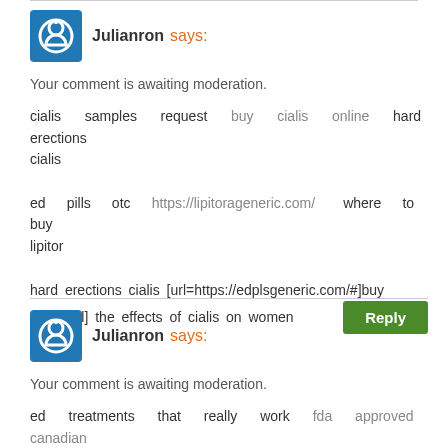Julianron says:
Your comment is awaiting moderation.
cialis samples request buy cialis online hard erections cialis
ed pills otc https://lipitorageneric.com/ where to buy lipitor
hard erections cialis [url=https://edplsgeneric.com/#]buy cialis[/url] the effects of cialis on women
Julianron says:
Your comment is awaiting moderation.
ed treatments that really work fda approved canadian